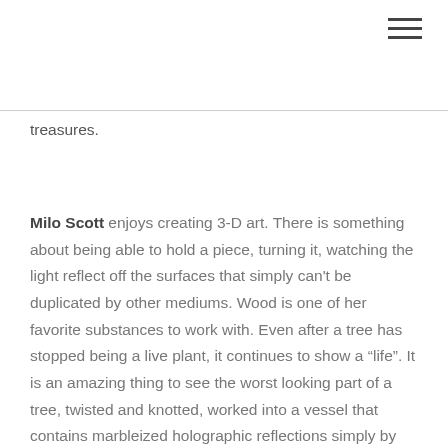treasures.
Milo Scott enjoys creating 3-D art. There is something about being able to hold a piece, turning it, watching the light reflect off the surfaces that simply can't be duplicated by other mediums. Wood is one of her favorite substances to work with. Even after a tree has stopped being a live plant, it continues to show a “life”. It is an amazing thing to see the worst looking part of a tree, twisted and knotted, worked into a vessel that contains marbleized holographic reflections simply by removing layers to expose the beauty that was always just under the surface. Wood is an item that can be fashioned into nearly any shape, but, sometimes, the wood wins. Many of the